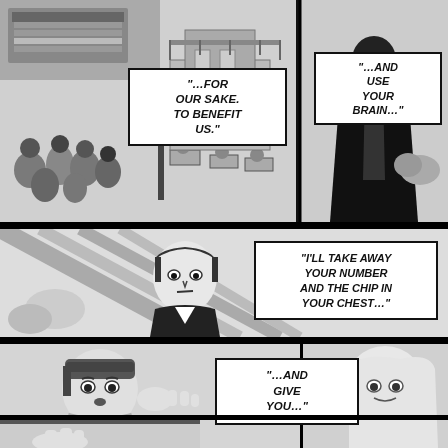[Figure (illustration): Manga comic page top panel: crowd scene with people, some blindfolded, near gallows/execution structure. Students or workers at desks in background. Building/castle behind. Black-robed figure on right side facing away.]
"...FOR OUR SAKE. TO BENEFIT US."
"...AND USE YOUR BRAIN..."
[Figure (illustration): Manga middle panel: close-up of a stern-faced character with sharp features in dark clothing, surrounded by diagonal structural lines/beams. Speech bubble with chip dialogue.]
"I'LL TAKE AWAY YOUR NUMBER AND THE CHIP IN YOUR CHEST..."
[Figure (illustration): Manga bottom panels: worried young character on left reaching out, and long-haired character on right. Speech bubble with 'and give you' dialogue. Small panel at very bottom showing a hand.]
"...AND GIVE YOU..."